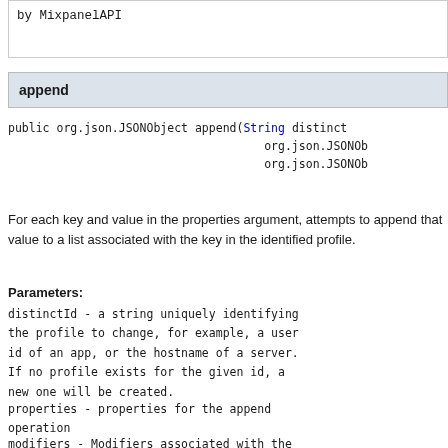by MixpanelAPI
append
public org.json.JSONObject append(String distinctId, org.json.JSONObject, org.json.JSONObject)
For each key and value in the properties argument, attempts to append that value to a list associated with the key in the identified profile.
Parameters:
distinctId - a string uniquely identifying the profile to change, for example, a user id of an app, or the hostname of a server. If no profile exists for the given id, a new one will be created.
properties - properties for the append operation
modifiers - Modifiers associated with the